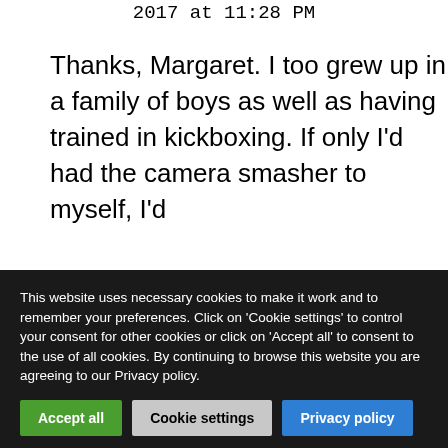2017 at 11:28 PM
Thanks, Margaret. I too grew up in a family of boys as well as having trained in kickboxing. If only I'd had the camera smasher to myself, I'd
This website uses necessary cookies to make it work and to remember your preferences. Click on 'Cookie settings' to control your consent for other cookies or click on 'Accept all' to consent to the use of all cookies. By continuing to browse this website you are agreeing to our Privacy policy.